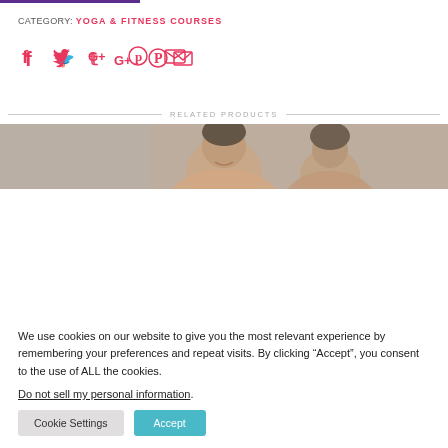CATEGORY: YOGA & FITNESS COURSES
[Figure (infographic): Social sharing icons: Facebook, Twitter, Google+, Pinterest, Email — all in pink/red color]
RELATED PRODUCTS
[Figure (photo): Photo strip showing two people smiling against a rocky/stone background]
We use cookies on our website to give you the most relevant experience by remembering your preferences and repeat visits. By clicking “Accept”, you consent to the use of ALL the cookies.
Do not sell my personal information.
Cookie Settings | Accept